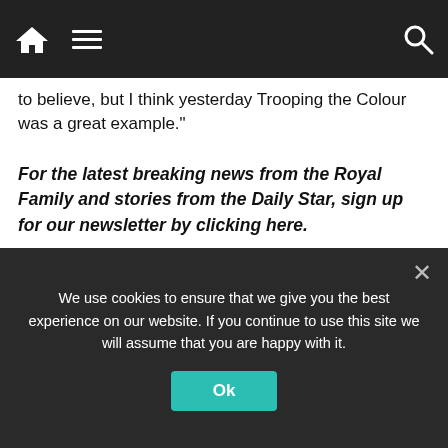Navigation bar with home, menu, and search icons
to believe, but I think yesterday Trooping the Colour was a great example."
For the latest breaking news from the Royal Family and stories from the Daily Star, sign up for our newsletter by clicking here.
Source: Read Full Article
Taboola Feed
[Figure (photo): Close-up photo of red berries or cherries with watermark text]
We use cookies to ensure that we give you the best experience on our website. If you continue to use this site we will assume that you are happy with it.